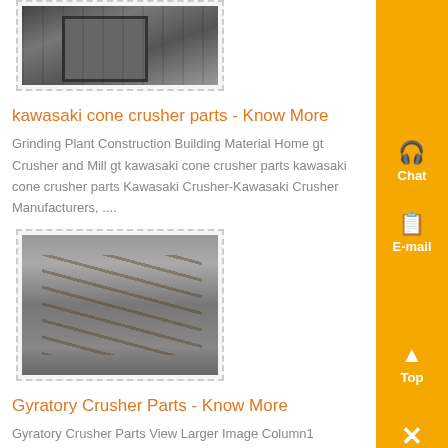[Figure (photo): Industrial crusher machinery photo at top of page]
kawasaki cone crusher parts - Know More
Grinding Plant Construction Building Material Home gt Crusher and Mill gt kawasaki cone crusher parts kawasaki cone crusher parts Kawasaki Crusher-Kawasaki Crusher Manufacturers, ....
[Figure (photo): Gyratory crusher parts viewed from above showing metal components]
Gyratory Crusher Parts - Know More
Gyratory Crusher Parts View Larger Image Column1 Column2 Column3 Spider Cap Mainshaft Eye Bolt